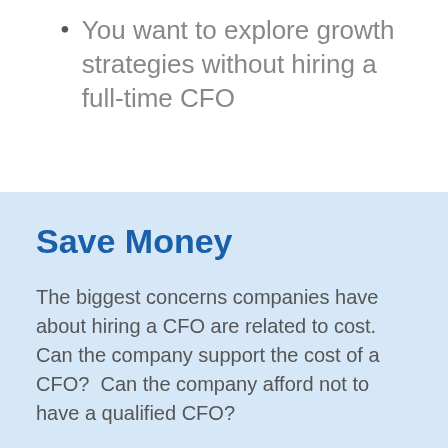You want to explore growth strategies without hiring a full-time CFO
Save Money
The biggest concerns companies have about hiring a CFO are related to cost.  Can the company support the cost of a CFO?  Can the company afford not to have a qualified CFO?
The...